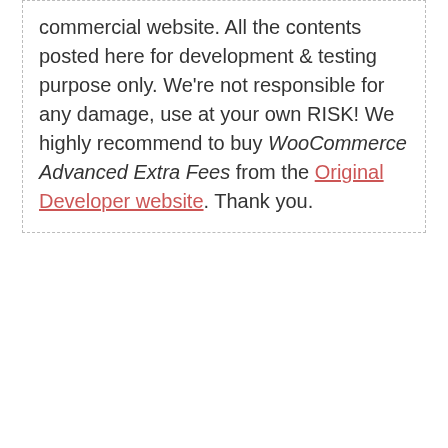commercial website. All the contents posted here for development & testing purpose only. We're not responsible for any damage, use at your own RISK! We highly recommend to buy WooCommerce Advanced Extra Fees from the Original Developer website. Thank you.